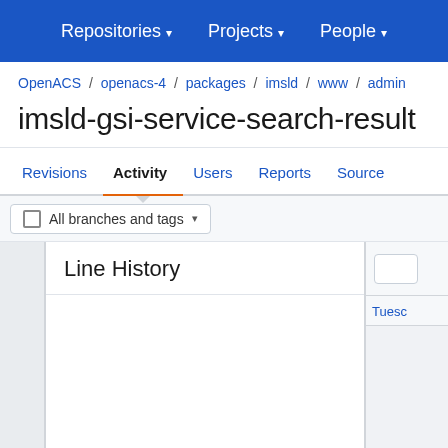Repositories ▾   Projects ▾   People ▾
OpenACS / openacs-4 / packages / imsld / www / admin
imsld-gsi-service-search-result
Revisions   Activity   Users   Reports   Source
All branches and tags
Line History
Tuesc
Tuesc